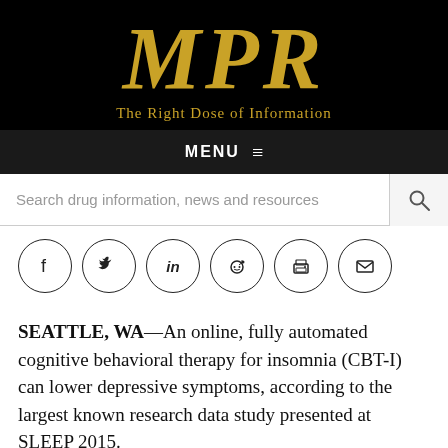MPR – The Right Dose of Information
MENU
Search drug information, news and resources
[Figure (other): Social sharing icons: Facebook, Twitter, LinkedIn, Reddit, Print, Email]
SEATTLE, WA—An online, fully automated cognitive behavioral therapy for insomnia (CBT-I) can lower depressive symptoms, according to the largest known research data study presented at SLEEP 2015.
CBT-I is the latest known research data on effective...